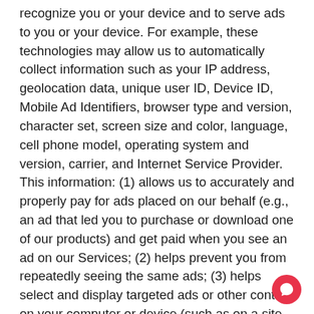recognize you or your device and to serve ads to you or your device. For example, these technologies may allow us to automatically collect information such as your IP address, geolocation data, unique user ID, Device ID, Mobile Ad Identifiers, browser type and version, character set, screen size and color, language, cell phone model, operating system and version, carrier, and Internet Service Provider. This information: (1) allows us to accurately and properly pay for ads placed on our behalf (e.g., an ad that led you to purchase or download one of our products) and get paid when you see an ad on our Services; (2) helps prevent you from repeatedly seeing the same ads; (3) helps select and display targeted ads or other content on your computer or device (such as on a site or social networking service you are visiting or a mobile application you are using) that may be of interest to you; and (4) helps us measure and analyze interactions with our ads and Services.
We also may collect information about your use of our Services and other...